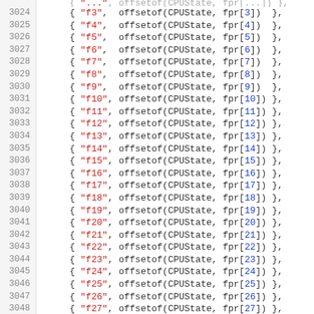code listing lines 3024-3048 showing C struct initializers with offsetof(CPUState, fpr[N]) entries
3024    { "f3",  offsetof(CPUState, fpr[3])  },
3025    { "f4",  offsetof(CPUState, fpr[4])  },
3026    { "f5",  offsetof(CPUState, fpr[5])  },
3027    { "f6",  offsetof(CPUState, fpr[6])  },
3028    { "f7",  offsetof(CPUState, fpr[7])  },
3029    { "f8",  offsetof(CPUState, fpr[8])  },
3030    { "f9",  offsetof(CPUState, fpr[9])  },
3031    { "f10", offsetof(CPUState, fpr[10]) },
3032    { "f11", offsetof(CPUState, fpr[11]) },
3033    { "f12", offsetof(CPUState, fpr[12]) },
3034    { "f13", offsetof(CPUState, fpr[13]) },
3035    { "f14", offsetof(CPUState, fpr[14]) },
3036    { "f15", offsetof(CPUState, fpr[15]) },
3037    { "f16", offsetof(CPUState, fpr[16]) },
3038    { "f17", offsetof(CPUState, fpr[17]) },
3039    { "f18", offsetof(CPUState, fpr[18]) },
3040    { "f19", offsetof(CPUState, fpr[19]) },
3041    { "f20", offsetof(CPUState, fpr[20]) },
3042    { "f21", offsetof(CPUState, fpr[21]) },
3043    { "f22", offsetof(CPUState, fpr[22]) },
3044    { "f23", offsetof(CPUState, fpr[23]) },
3045    { "f24", offsetof(CPUState, fpr[24]) },
3046    { "f25", offsetof(CPUState, fpr[25]) },
3047    { "f26", offsetof(CPUState, fpr[26]) },
3048    { "f27", offsetof(CPUState, fpr[27]) },